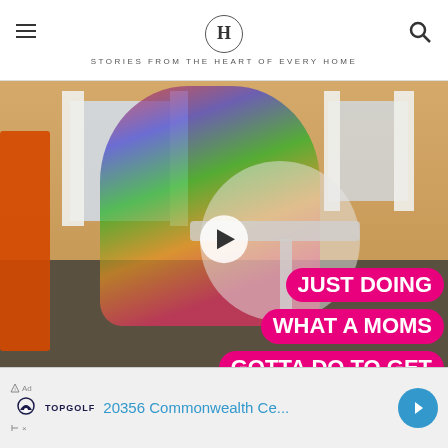H — STORIES FROM THE HEART OF EVERY HOME
[Figure (screenshot): Video thumbnail showing a woman holding a baby near a high chair in a living room, with a pink text overlay reading 'JUST DOING WHAT A MOMS GOTTA DO TO GET'. A play button is centered on the image.]
JUST DOING WHAT A MOMS GOTTA DO TO GET
[Figure (screenshot): Advertisement bar showing TopGolf logo with text '20356 Commonwealth Ce...' in blue and a blue circular navigation arrow icon.]